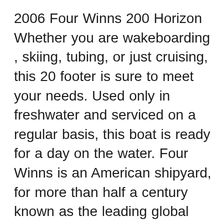2006 Four Winns 200 Horizon Whether you are wakeboarding , skiing, tubing, or just cruising, this 20 footer is sure to meet your needs. Used only in freshwater and serviced on a regular basis, this boat is ready for a day on the water. Four Winns is an American shipyard, for more than half a century known as the leading global manufacturer of innovative models of motor boats with a length in the range from 5.3 to 15 m.. A fiberglass boat company originated in the town of Cadillac as early as 1962 and was originally called Safe-T-Mate Boats, and the shipyard received the name Four Winns in 1975 in honor of the Winn...